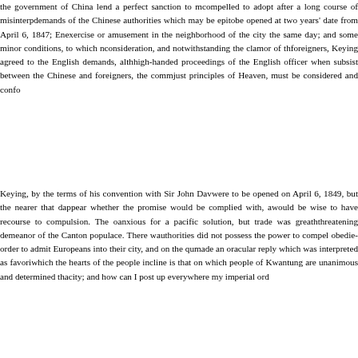the government of China lend a perfect sanction to m... compelled to adopt after a long course of misinterp... demands of the Chinese authorities which may be epito... be opened at two years' date from April 6, 1847; En... exercise or amusement in the neighborhood of the city... the same day; and some minor conditions, to which n... consideration, and notwithstanding the clamor of th... foreigners, Keying agreed to the English demands, alth... high-handed proceedings of the English officer when... subsist between the Chinese and foreigners, the comm... just principles of Heaven, must be considered and confo...
Keying, by the terms of his convention with Sir John Dav... were to be opened on April 6, 1849, but the nearer that d... appear whether the promise would be complied with, a... would be wise to have recourse to compulsion. The o... anxious for a pacific solution, but trade was greath... threatening demeanor of the Canton populace. There w... authorities did not possess the power to compel obedie... order to admit Europeans into their city, and on the qu... made an oracular reply which was interpreted as favori... which the hearts of the people incline is that on which... people of Kwantung are unanimous and determined tha... city; and how can I post up everywhere my imperial ord...